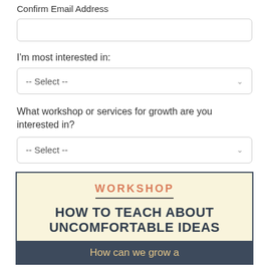Confirm Email Address
I'm most interested in:
-- Select --
What workshop or services for growth are you interested in?
-- Select --
[Figure (infographic): Workshop promotional image on cream/beige background with dark border. Shows 'WORKSHOP' in salmon/orange uppercase letters, a horizontal divider line, bold dark text reading 'HOW TO TEACH ABOUT UNCOMFORTABLE IDEAS', and a dark blue-gray banner at bottom reading 'How can we grow a']